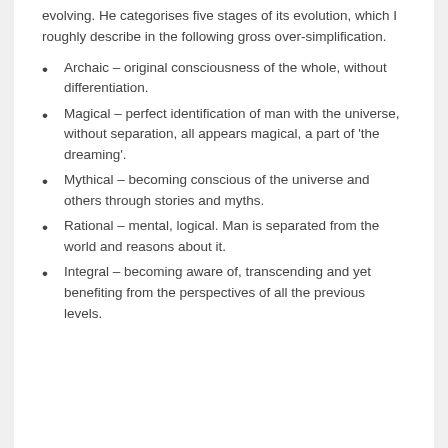evolving. He categorises five stages of its evolution, which I roughly describe in the following gross over-simplification.
Archaic – original consciousness of the whole, without differentiation.
Magical – perfect identification of man with the universe, without separation, all appears magical, a part of 'the dreaming'.
Mythical – becoming conscious of the universe and others through stories and myths.
Rational – mental, logical. Man is separated from the world and reasons about it.
Integral – becoming aware of, transcending and yet benefiting from the perspectives of all the previous levels.